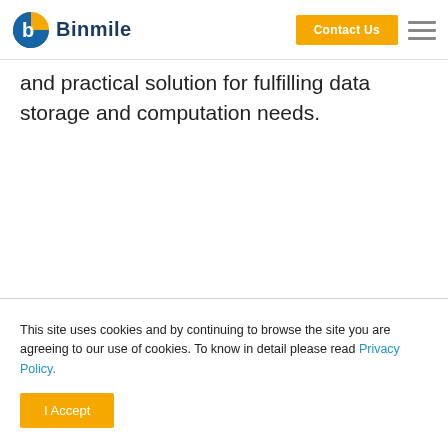Binmile | Contact Us
and practical solution for fulfilling data storage and computation needs.
This site uses cookies and by continuing to browse the site you are agreeing to our use of cookies. To know in detail please read Privacy Policy.
I Accept